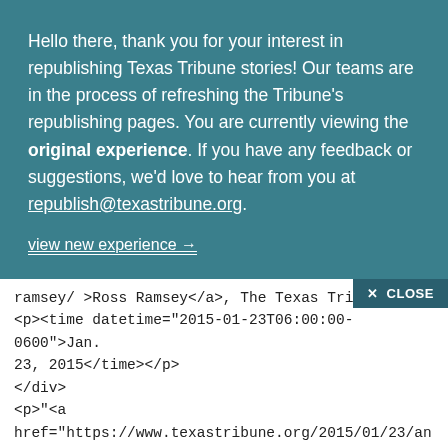Hello there, thank you for your interest in republishing Texas Tribune stories! Our teams are in the process of refreshing the Tribune's republishing pages. You are currently viewing the original experience. If you have any feedback or suggestions, we'd love to hear from you at republish@texastribune.org.
view new experience →
ramsey/ >Ross Ramsey</a>, The Texas Tribune<, <p><time datetime="2015-01-23T06:00:00-0600">Jan. 23, 2015</time></p> </div> <p>"<a href="https://www.texastribune.org/2015/01/23/analysis-out-office-not-finished-politics/">Analysis: Out of Office, but Not Out of Politics</a>" was first published by The Texas Tribune, a nonprofit, nonpartisan media organization that informs Texans — and engages with them — about public policy, politics, government and statewide issues.</p> <p><a href="http://www.texastribune.org/directory/susan-combs/">Susan Combs</a>, the state's comptroller of